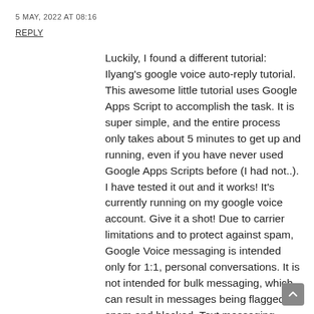5 MAY, 2022 AT 08:16
REPLY
Luckily, I found a different tutorial: Ilyang’s google voice auto-reply tutorial. This awesome little tutorial uses Google Apps Script to accomplish the task. It is super simple, and the entire process only takes about 5 minutes to get up and running, even if you have never used Google Apps Scripts before (I had not..). I have tested it out and it works! It’s currently running on my google voice account. Give it a shot! Due to carrier limitations and to protect against spam, Google Voice messaging is intended only for 1:1, personal conversations. It is not intended for bulk messaging, which can result in messages being flagged as spam and blocked. Text messaging behaviors that may be blocked include, but are not limited to: Cc stands for